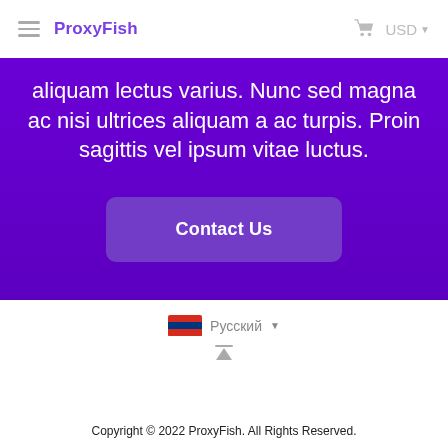ProxyFish  USD
aliquam lectus varius. Nunc sed magna ac nisi ultrices aliquam a ac turpis. Proin sagittis vel ipsum vitae luctus.
Contact Us
Русский
Copyright © 2022 ProxyFish. All Rights Reserved.